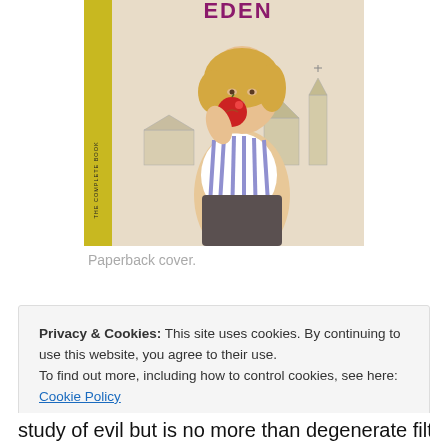[Figure (illustration): Paperback book cover showing a young blonde woman in a striped sleeveless top biting a red apple, with a small town scene in the background. A yellow spine strip reads 'THE COMPLETE BOOK' vertically. The title at top appears to read 'EDEN' in bold letters.]
Paperback cover.
Privacy & Cookies: This site uses cookies. By continuing to use this website, you agree to their use.
To find out more, including how to control cookies, see here: Cookie Policy
Close and accept
study of evil but is no more than degenerate filth. ) and